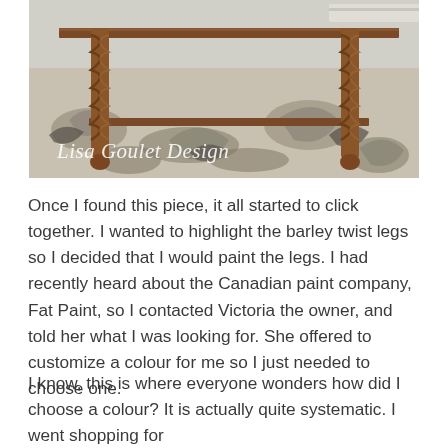[Figure (photo): A wooden bench or table with barley twist legs sitting on a decorative grey and white patterned area rug. The furniture has dark stained wood. A watermark reading 'Lisa Goulet Design' appears in italic script in the lower left of the photo.]
Once I found this piece, it all started to click together. I wanted to highlight the barley twist legs so I decided that I would paint the legs. I had recently heard about the Canadian paint company, Fat Paint, so I contacted Victoria the owner, and told her what I was looking for. She offered to customize a colour for me so I just needed to choose one.
I know, this is where everyone wonders how did I choose a colour? It is actually quite systematic. I went shopping for